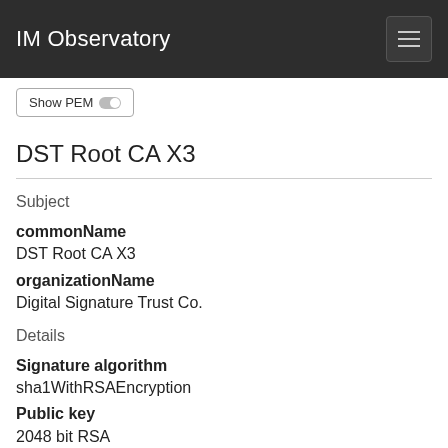IM Observatory
Show PEM
DST Root CA X3
Subject
commonName
DST Root CA X3
organizationName
Digital Signature Trust Co.
Details
Signature algorithm
sha1WithRSAEncryption
Public key
2048 bit RSA
Valid from
2000-09-30 21:12:19 UTC 22 years ago
Valid to